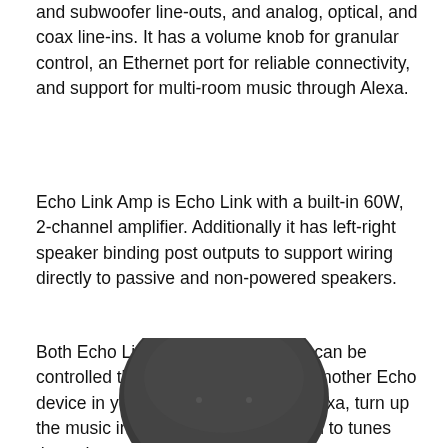and subwoofer line-outs, and analog, optical, and coax line-ins. It has a volume knob for granular control, an Ethernet port for reliable connectivity, and support for multi-room music through Alexa.
Echo Link Amp is Echo Link with a built-in 60W, 2-channel amplifier. Additionally it has left-right speaker binding post outputs to support wiring directly to passive and non-powered speakers.
Both Echo Link and Echo Link Amp can be controlled through the Alexa app or another Echo device in your home. Simply say, “Alexa, turn up the music in the living room,” to listen to tunes through your existing stereo system.
[Figure (photo): Top-down view of a dark circular Amazon Echo device]